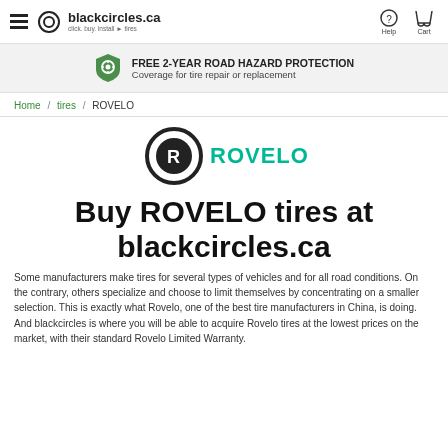blackcircles.ca — click. buy. install. tires | Help | Cart
FREE 2-YEAR ROAD HAZARD PROTECTION — Coverage for tire repair or replacement
Home / tires / ROVELO
[Figure (logo): ROVELO brand logo: circular black badge with stylized R, and ROVELO text in teal/green]
Buy ROVELO tires at blackcircles.ca
Some manufacturers make tires for several types of vehicles and for all road conditions. On the contrary, others specialize and choose to limit themselves by concentrating on a smaller selection. This is exactly what Rovelo, one of the best tire manufacturers in China, is doing. And blackcircles is where you will be able to acquire Rovelo tires at the lowest prices on the market, with their standard Rovelo Limited Warranty.